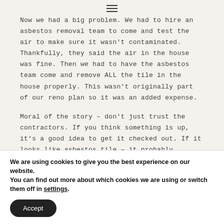≡
Now we had a big problem. We had to hire an asbestos removal team to come and test the air to make sure it wasn't contaminated. Thankfully, they said the air in the house was fine. Then we had to have the asbestos team come and remove ALL the tile in the house properly. This wasn't originally part of our reno plan so it was an added expense.
Moral of the story – don't just trust the contractors. If you think something is up, it's a good idea to get it checked out. If it looks like asbestos tile – it probably
We are using cookies to give you the best experience on our website.
You can find out more about which cookies we are using or switch them off in settings.
Accept